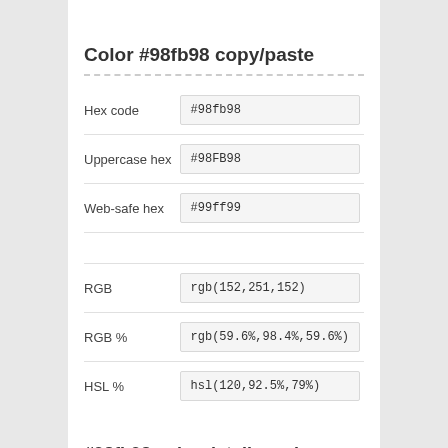Color #98fb98 copy/paste
| Label | Value |
| --- | --- |
| Hex code | #98fb98 |
| Uppercase hex | #98FB98 |
| Web-safe hex | #99ff99 |
| RGB | rgb(152,251,152) |
| RGB % | rgb(59.6%,98.4%,59.6%) |
| HSL % | hsl(120,92.5%,79%) |
#98fb98 color details and conversion
The hexadecimal triplet #98fb98 definition is: Red = 152, Green = 251, Blue = 152 or CMYK: Cyan = 0.39442231075697, Magenta = 0